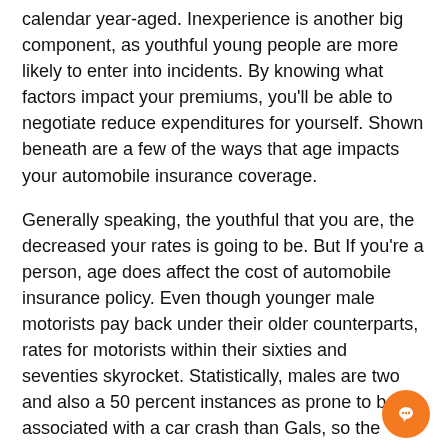calendar year-aged. Inexperience is another big component, as youthful young people are more likely to enter into incidents. By knowing what factors impact your premiums, you'll be able to negotiate reduce expenditures for yourself. Shown beneath are a few of the ways that age impacts your automobile insurance coverage.
Generally speaking, the youthful that you are, the decreased your rates is going to be. But If you're a person, age does affect the cost of automobile insurance policy. Even though younger male motorists pay back under their older counterparts, rates for motorists within their sixties and seventies skyrocket. Statistically, males are two and also a 50 percent instances as prone to be associated with a car crash than Gals, so the gender gap decreases with age. (protection choices)(homeowners insurance policy)
Gender impacts rates
The truth that a person pays an increased premium for a insurance under the same principle. It follows pricing. S it